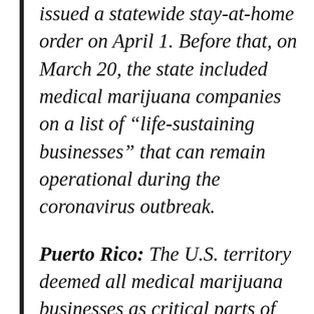issued a statewide stay-at-home order on April 1. Before that, on March 20, the state included medical marijuana companies on a list of “life-sustaining businesses” that can remain operational during the coronavirus outbreak.
Puerto Rico: The U.S. territory deemed all medical marijuana businesses as critical parts of their health-care sector and